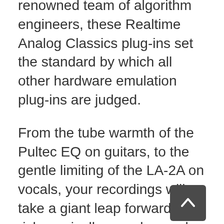renowned team of algorithm engineers, these Realtime Analog Classics plug-ins set the standard by which all other hardware emulation plug-ins are judged.
From the tube warmth of the Pultec EQ on guitars, to the gentle limiting of the LA-2A on vocals, your recordings will take a giant leap forward in rich, sonically complex analog sound.
Vintage Guitar and Bass Amps
For guitarists and bassists, Arrow includes Unison technology on its front panel